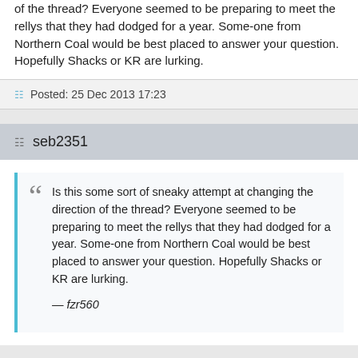of the thread? Everyone seemed to be preparing to meet the rellys that they had dodged for a year. Some-one from Northern Coal would be best placed to answer your question. Hopefully Shacks or KR are lurking.
Posted: 25 Dec 2013 17:23
seb2351
Is this some sort of sneaky attempt at changing the direction of the thread? Everyone seemed to be preparing to meet the rellys that they had dodged for a year. Some-one from Northern Coal would be best placed to answer your question. Hopefully Shacks or KR are lurking.
— fzr560